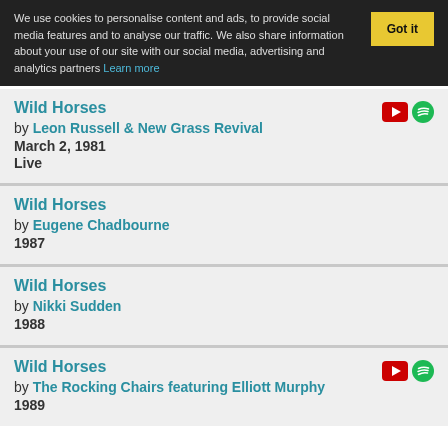We use cookies to personalise content and ads, to provide social media features and to analyse our traffic. We also share information about your use of our site with our social media, advertising and analytics partners Learn more  Got it
Wild Horses by Leon Russell & New Grass Revival March 2, 1981 Live
Wild Horses by Eugene Chadbourne 1987
Wild Horses by Nikki Sudden 1988
Wild Horses by The Rocking Chairs featuring Elliott Murphy 1989